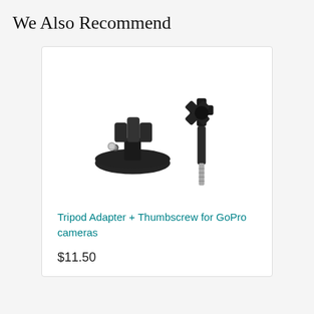We Also Recommend
[Figure (photo): Tripod adapter base mount (black circular base with three-prong clamp) and thumbscrew (black cylindrical bolt with star-shaped head) for GoPro cameras]
Tripod Adapter + Thumbscrew for GoPro cameras
$11.50